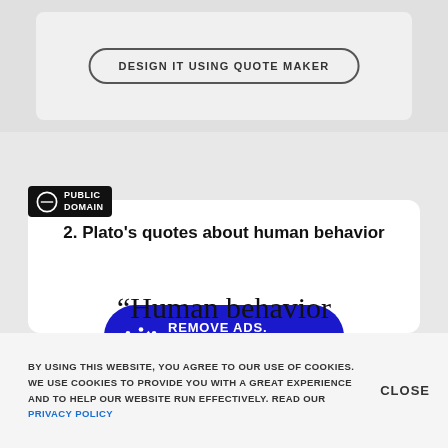[Figure (screenshot): Top grey section with a 'DESIGN IT USING QUOTE MAKER' button in a rounded border]
DESIGN IT USING QUOTE MAKER
[Figure (logo): Public Domain badge with CC-like icon and text 'PUBLIC DOMAIN']
2. Plato's quotes about human behavior
[Figure (infographic): Blue rounded button with crown icon: REMOVE ADS. UPGRADE TO PRO]
“Human behavior
BY USING THIS WEBSITE, YOU AGREE TO OUR USE OF COOKIES. WE USE COOKIES TO PROVIDE YOU WITH A GREAT EXPERIENCE AND TO HELP OUR WEBSITE RUN EFFECTIVELY. READ OUR PRIVACY POLICY
CLOSE